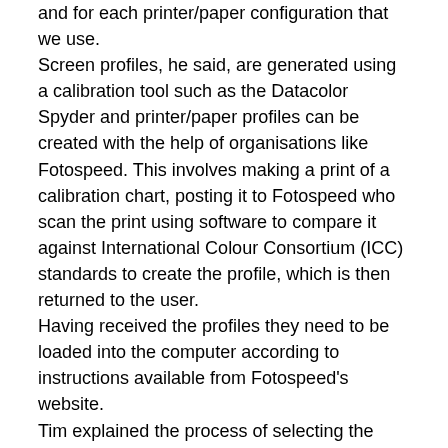and for each printer/paper configuration that we use. Screen profiles, he said, are generated using a calibration tool such as the Datacolor Spyder and printer/paper profiles can be created with the help of organisations like Fotospeed. This involves making a print of a calibration chart, posting it to Fotospeed who scan the print using software to compare it against International Colour Consortium (ICC) standards to create the profile, which is then returned to the user. Having received the profiles they need to be loaded into the computer according to instructions available from Fotospeed's website. Tim explained the process of selecting the appropriate profiles, and other options, at the time of printing to ensure the results are as required. He also pointed out that the choice of paper type, while being very personal, can make a difference to the impact of the image. To illustrate this, Tim showed us a range of images and explained what paper he would choose to print them on. Following an extensive question and answer session, our Chairman thanked Tim for a very